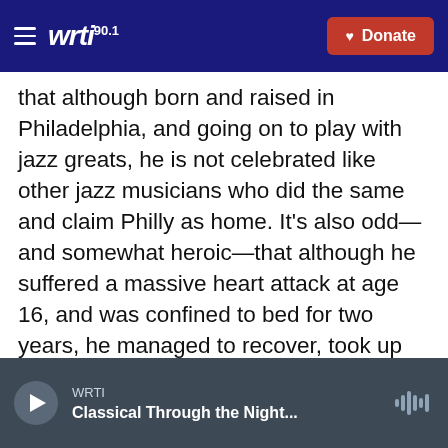WRTI 90.1 | Donate
that although born and raised in Philadelphia, and going on to play with jazz greats, he is not celebrated like other jazz musicians who did the same and claim Philly as home. It’s also odd—and somewhat heroic—that although he suffered a massive heart attack at age 16, and was confined to bed for two years, he managed to recover, took up the bass, and ultimately became proficient enough on the instrument to move to New York, where he made music with the aforementioned musicians, and a good number of other jazz stalwarts.
WRTI | Classical Through the Night...